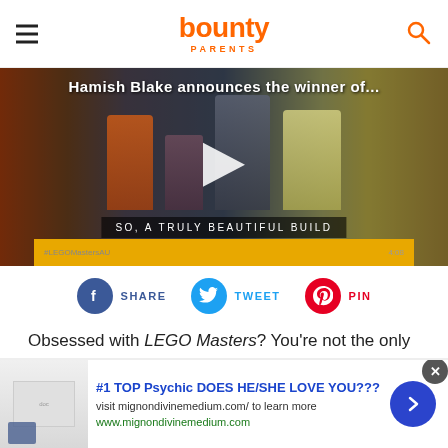bounty PARENTS
[Figure (screenshot): Video thumbnail showing group of people on a TV show set with text 'Hamish Blake announces the winner of...' and caption 'SO, A TRULY BEAUTIFUL BUILD'. Play button overlay visible. LEGO Masters branding bar at bottom.]
SHARE  TWEET  PIN
Obsessed with LEGO Masters? You're not the only one.
[Figure (screenshot): Advertisement banner: #1 TOP Psychic DOES HE/SHE LOVE YOU??? visit mignondivinemedium.com/ to learn more www.mignondivinemedium.com]